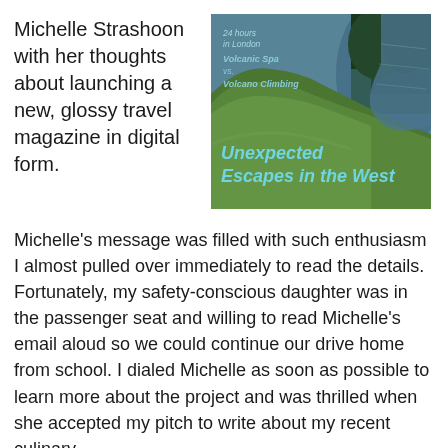Michelle Strashoon with her thoughts about launching a new, glossy travel magazine in digital form.
[Figure (photo): Magazine cover showing a lush green hillside next to a river/lake, with overlaid text reading '24 hours in London', 'Volcanic Spa vs. Volcano Climbing', and 'Unexpected Escapes in the West' in teal/blue italic font]
Michelle's message was filled with such enthusiasm I almost pulled over immediately to read the details. Fortunately, my safety-conscious daughter was in the passenger seat and willing to read Michelle's email aloud so we could continue our drive home from school. I dialed Michelle as soon as possible to learn more about the project and was thrilled when she accepted my pitch to write about my recent culinary experiences in Paris from the point of view of a food...